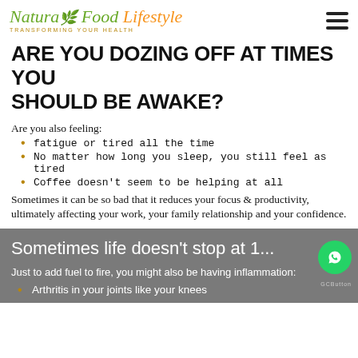Natural Food Lifestyle - TRANSFORMING YOUR HEALTH
ARE YOU DOZING OFF AT TIMES YOU SHOULD BE AWAKE?
Are you also feeling:
fatigue or tired all the time
No matter how long you sleep, you still feel as tired
Coffee doesn't seem to be helping at all
Sometimes it can be so bad that it reduces your focus & productivity, ultimately affecting your work, your family relationship and your confidence.
Sometimes life doesn't stop at 1...
Just to add fuel to fire, you might also be having inflammation:
Arthritis in your joints like your knees